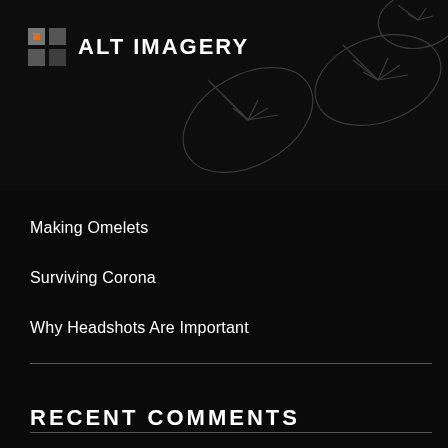ALT IMAGERY
Making Omelets
Surviving Corona
Why Headshots Are Important
RECENT COMMENTS
ARCHIVES